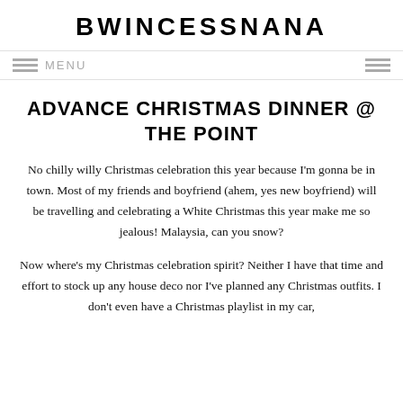BWINCESSNANA
MENU
ADVANCE CHRISTMAS DINNER @ THE POINT
No chilly willy Christmas celebration this year because I'm gonna be in town. Most of my friends and boyfriend (ahem, yes new boyfriend) will be travelling and celebrating a White Christmas this year make me so jealous! Malaysia, can you snow?
Now where's my Christmas celebration spirit? Neither I have that time and effort to stock up any house deco nor I've planned any Christmas outfits. I don't even have a Christmas playlist in my car,